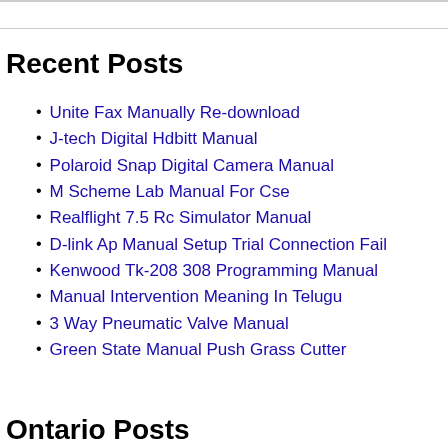Recent Posts
Unite Fax Manually Re-download
J-tech Digital Hdbitt Manual
Polaroid Snap Digital Camera Manual
M Scheme Lab Manual For Cse
Realflight 7.5 Rc Simulator Manual
D-link Ap Manual Setup Trial Connection Fail
Kenwood Tk-208 308 Programming Manual
Manual Intervention Meaning In Telugu
3 Way Pneumatic Valve Manual
Green State Manual Push Grass Cutter
Ontario Posts